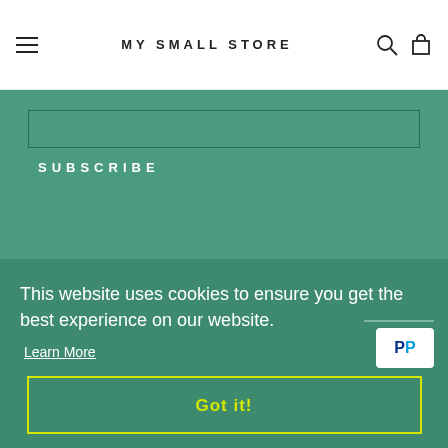MY SMALL STORE
SUBSCRIBE
© MY SMALL STORE
Powered by Shopify
This website uses cookies to ensure you get the best experience on our website.
Learn More
Got it!